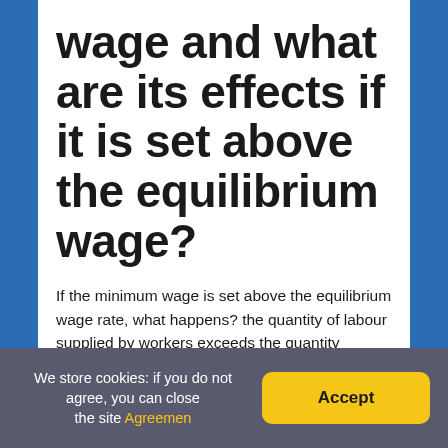wage and what are its effects if it is set above the equilibrium wage?
If the minimum wage is set above the equilibrium wage rate, what happens? the quantity of labour supplied by workers exceeds the quantity demanded by employers & there is a surplus of labour. The quantity of labour hired at the minimum wage is less than the quantity that would be hired in an unregulated labour market.
We store cookies: if you do not agree, you can close the site Agreemen  Accept